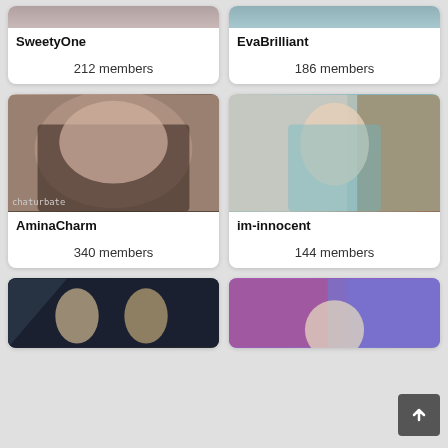SweetyOne
212 members
EvaBrilliant
186 members
[Figure (photo): AminaCharm profile photo]
AminaCharm
340 members
[Figure (photo): im-innocent profile photo]
im-innocent
144 members
[Figure (photo): Bottom left profile photo]
[Figure (photo): Bottom right profile photo]